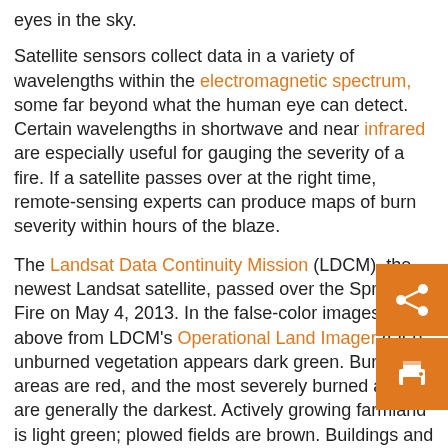eyes in the sky.
Satellite sensors collect data in a variety of wavelengths within the electromagnetic spectrum, some far beyond what the human eye can detect. Certain wavelengths in shortwave and near infrared are especially useful for gauging the severity of a fire. If a satellite passes over at the right time, remote-sensing experts can produce maps of burn severity within hours of the blaze.
The Landsat Data Continuity Mission (LDCM), the newest Landsat satellite, passed over the Springs Fire on May 4, 2013. In the false-color images above from LDCM's Operational Land Imager (OLI), unburned vegetation appears dark green. Burned areas are red, and the most severely burned areas are generally the darkest. Actively growing farmland is light green; plowed fields are brown. Buildings and roads are gray. Note that the image is rotated so that north is to the right.
While most of the Springs Fire affected shrubland and forested flames did encroach on fields and homes near Camarillo and M Park. The lower image shows the same area on March 18, 201 (Turn on the image-comparison tool to see the difference.)
"Having a new Landsat satellite on orbit is critically important. We have to di...r to the BAER teams within a week for the st...